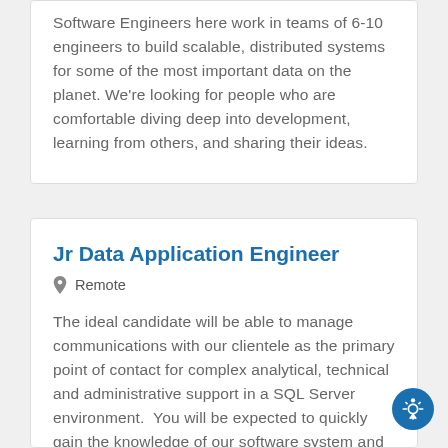Software Engineers here work in teams of 6-10 engineers to build scalable, distributed systems for some of the most important data on the planet. We're looking for people who are comfortable diving deep into development, learning from others, and sharing their ideas.
Jr Data Application Engineer
Remote
The ideal candidate will be able to manage communications with our clientele as the primary point of contact for complex analytical, technical and administrative support in a SQL Server environment.  You will be expected to quickly gain the knowledge of our software system and customer business